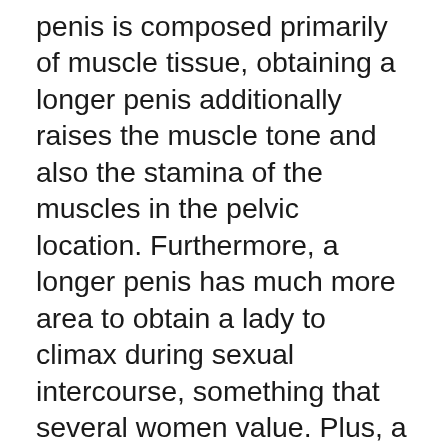penis is composed primarily of muscle tissue, obtaining a longer penis additionally raises the muscle tone and also the stamina of the muscles in the pelvic location. Furthermore, a longer penis has much more area to obtain a lady to climax during sexual intercourse, something that several women value. Plus, a bigger penis is more with the ability of entering the deepest parts of a woman’s vagina leading to an extra extreme sexual experience for her.
Exactly how do you make your penis much longer? Well, some guys attempt pills or pumps, and others attempt extending gizmos, yet neither of these techniques really work all that well. The typical penis however, is not specifically long. It’s about 5